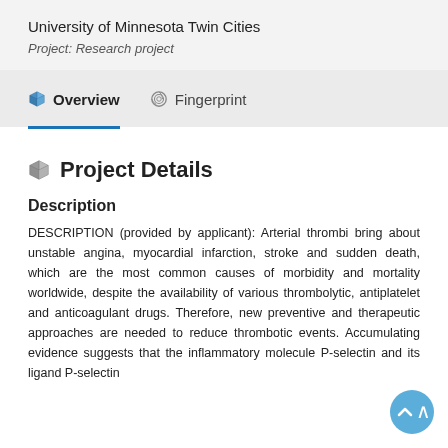University of Minnesota Twin Cities
Project: Research project
Overview
Fingerprint
Project Details
Description
DESCRIPTION (provided by applicant): Arterial thrombi bring about unstable angina, myocardial infarction, stroke and sudden death, which are the most common causes of morbidity and mortality worldwide, despite the availability of various thrombolytic, antiplatelet and anticoagulant drugs. Therefore, new preventive and therapeutic approaches are needed to reduce thrombotic events. Accumulating evidence suggests that the inflammatory molecule P-selectin and its ligand P-selectin